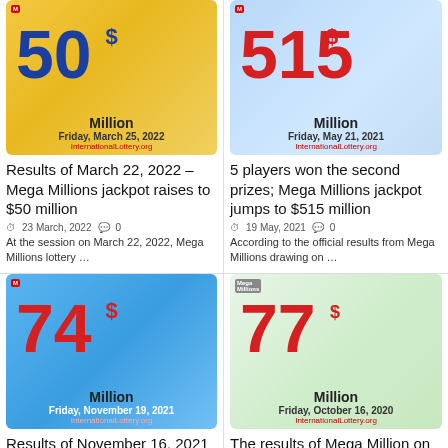[Figure (illustration): Lottery jackpot image: $50 Million, Friday, March 25, 2022, InternationalLottery.org, blue numbers on yellow background]
Results of March 22, 2022 – Mega Millions jackpot raises to $50 million
23 March, 2022  0
At the session on March 22, 2022, Mega Millions lottery …
[Figure (illustration): Lottery jackpot image: $515 Million, Friday, May 21, 2021, InternationalLottery.org, red numbers on light blue background]
5 players won the second prizes; Mega Millions jackpot jumps to $515 million
19 May, 2021  0
According to the official results from Mega Millions drawing on …
[Figure (illustration): Lottery jackpot image: $74 Million, Friday, November 19, 2021, InternationalLottery.org, red numbers on blue background with flowers]
Results of November 16, 2021 – Mega Millions
[Figure (illustration): Lottery jackpot image: $77 Million, Friday, October 16, 2020, InternationalLottery.org, red numbers on light green background]
The results of Mega Million on October 13,